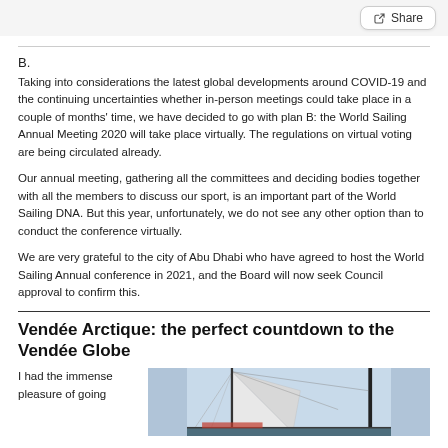B.
Taking into considerations the latest global developments around COVID-19 and the continuing uncertainties whether in-person meetings could take place in a couple of months' time, we have decided to go with plan B: the World Sailing Annual Meeting 2020 will take place virtually. The regulations on virtual voting are being circulated already.
Our annual meeting, gathering all the committees and deciding bodies together with all the members to discuss our sport, is an important part of the World Sailing DNA. But this year, unfortunately, we do not see any other option than to conduct the conference virtually.
We are very grateful to the city of Abu Dhabi who have agreed to host the World Sailing Annual conference in 2021, and the Board will now seek Council approval to confirm this.
Vendée Arctique: the perfect countdown to the Vendée Globe
I had the immense pleasure of going
[Figure (photo): Photo of a sailing boat with masts and rigging against a blue sky, showing a sail and part of the boat structure]